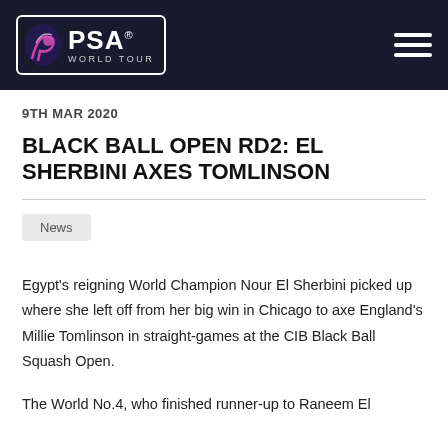PSA WORLD TOUR
9TH MAR 2020
BLACK BALL OPEN RD2: EL SHERBINI AXES TOMLINSON
News
Egypt's reigning World Champion Nour El Sherbini picked up where she left off from her big win in Chicago to axe England's Millie Tomlinson in straight-games at the CIB Black Ball Squash Open.
The World No.4, who finished runner-up to Raneem El